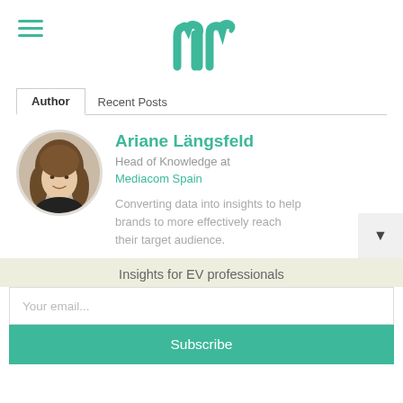[Figure (logo): Medium/blog logo — stylized 'M' or 'iii' mark in teal green with a curled top]
Author	Recent Posts
Ariane Längsfeld
Head of Knowledge at
Mediacom Spain
Converting data into insights to help brands to more effectively reach their target audience.
[Figure (photo): Circular profile photo of Ariane Längsfeld, woman with long brown hair, smiling, wearing a dark top]
Insights for EV professionals
Your email...
Subscribe